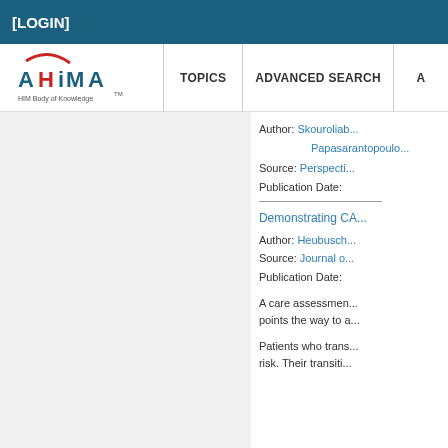[LOGIN]
[Figure (logo): AHIMA HIM Body of Knowledge logo with red swoosh and blue text]
TOPICS
ADVANCED SEARCH
Author:  Skouroliab... Papasarantopoulo...
Source:  Perspecti...
Publication Date:
Demonstrating CA...
Author:  Heubusch...
Source:  Journal o...
Publication Date:
A care assessment points the way to...
Patients who trans... risk. Their transiti...